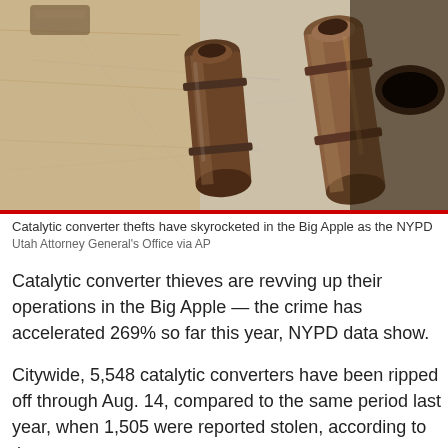[Figure (photo): Catalytic converters photographed on a wooden surface, showing copper-toned metal exhaust components]
Catalytic converter thefts have skyrocketed in the Big Apple as the NYPD
Utah Attorney General's Office via AP
Catalytic converter thieves are revving up their operations in the Big Apple — the crime has accelerated 269% so far this year, NYPD data show.
Citywide, 5,548 catalytic converters have been ripped off through Aug. 14, compared to the same period last year, when 1,505 were reported stolen, according to the stats.
Queens leads the five boroughs with 2,092 converter thefts in 2022, compared to 574 in the same period last year — a hefty 264% hike.